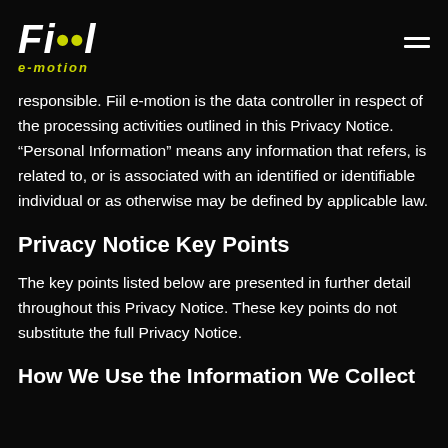Fiil e-motion [logo]
responsible. Fiil e-motion is the data controller in respect of the processing activities outlined in this Privacy Notice. “Personal Information” means any information that refers, is related to, or is associated with an identified or identifiable individual or as otherwise may be defined by applicable law.
Privacy Notice Key Points
The key points listed below are presented in further detail throughout this Privacy Notice. These key points do not substitute the full Privacy Notice.
How We Use the Information We Collect